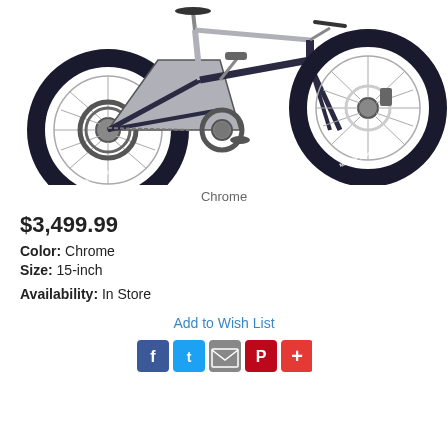[Figure (photo): A full-suspension mountain bike in chrome/silver color with dark blue frame accents, Maxxis tires, shown in side profile with drivetrain visible on left side and front wheel detail on right side.]
Chrome
$3,499.99
Color: Chrome
Size: 15-inch
Availability: In Store
Add to Wish List